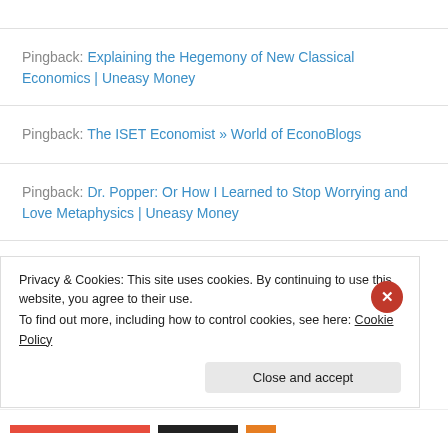Pingback: Explaining the Hegemony of New Classical Economics | Uneasy Money
Pingback: The ISET Economist » World of EconoBlogs
Pingback: Dr. Popper: Or How I Learned to Stop Worrying and Love Metaphysics | Uneasy Money
Pingback: Graeber Against Economics | Uneasy Money
Privacy & Cookies: This site uses cookies. By continuing to use this website, you agree to their use. To find out more, including how to control cookies, see here: Cookie Policy
Close and accept